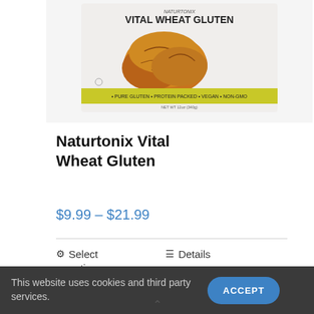[Figure (photo): Product photo of Naturtonix Vital Wheat Gluten bag with bread image on front and yellow banner at bottom reading '+ PURE GLUTEN + PROTEIN PACKED + VEGAN + NON-GMO']
Naturtonix Vital Wheat Gluten
$9.99 – $21.99
⚙ Select options   ≡ Details
This website uses cookies and third party services.
ACCEPT